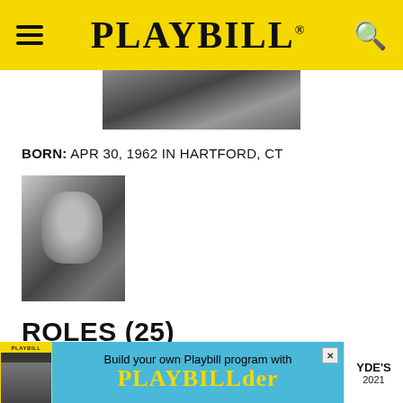PLAYBILL
[Figure (photo): Cropped top portion of a black and white photo, showing upper body/head area]
BORN: APR 30, 1962 IN HARTFORD, CT
[Figure (photo): Black and white headshot photo of a man with curly dark hair]
ROLES (25)
[Figure (infographic): Advertisement banner: Build your own Playbill program with PLAYBILLder. Shows Playbill thumbnail and partial show title CLYDE'S 2021]